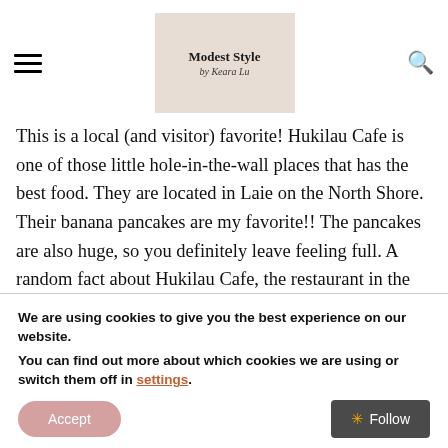Modest Style by Keara Lu
This is a local (and visitor) favorite! Hukilau Cafe is one of those little hole-in-the-wall places that has the best food. They are located in Laie on the North Shore. Their banana pancakes are my favorite!! The pancakes are also huge, so you definitely leave feeling full. A random fact about Hukilau Cafe, the restaurant in the movie 50 First Dates is based off this cafe. When you visit, you can see the signed photos of all the famous people that have visited the cafe along the walls. Side note- the cafe only accepts cash, so
We are using cookies to give you the best experience on our website.
You can find out more about which cookies we are using or switch them off in settings.